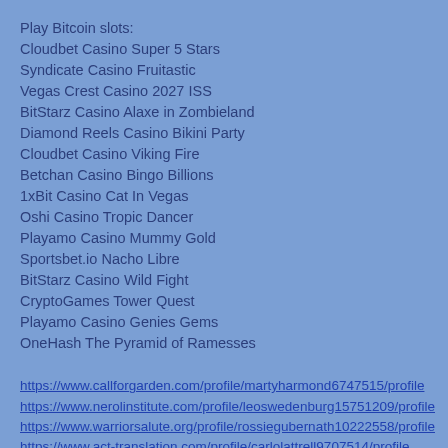Play Bitcoin slots:
Cloudbet Casino Super 5 Stars
Syndicate Casino Fruitastic
Vegas Crest Casino 2027 ISS
BitStarz Casino Alaxe in Zombieland
Diamond Reels Casino Bikini Party
Cloudbet Casino Viking Fire
Betchan Casino Bingo Billions
1xBit Casino Cat In Vegas
Oshi Casino Tropic Dancer
Playamo Casino Mummy Gold
Sportsbet.io Nacho Libre
BitStarz Casino Wild Fight
CryptoGames Tower Quest
Playamo Casino Genies Gems
OneHash The Pyramid of Ramesses
https://www.callforgarden.com/profile/martyharmond6747515/profile
https://www.nerolinstitute.com/profile/leoswedenburg15751209/profile
https://www.warriorsalute.org/profile/rossiegubernath10222558/profile
https://www.act-translation.com/profile/carlolattrell9707514/profile